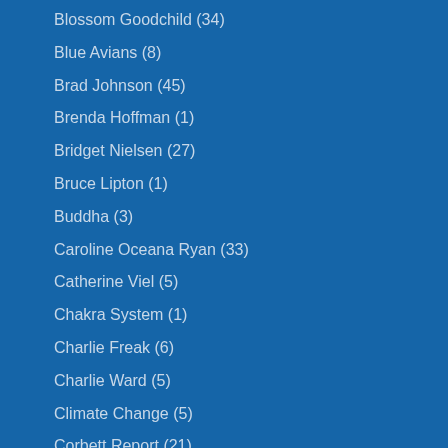Blossom Goodchild (34)
Blue Avians (8)
Brad Johnson (45)
Brenda Hoffman (1)
Bridget Nielsen (27)
Bruce Lipton (1)
Buddha (3)
Caroline Oceana Ryan (33)
Catherine Viel (5)
Chakra System (1)
Charlie Freak (6)
Charlie Ward (5)
Climate Change (5)
Corbett Report (21)
Corey Goode (31)
Cosmic Disclosure (7)
Covid-19 (161)
Crop Circles (6)